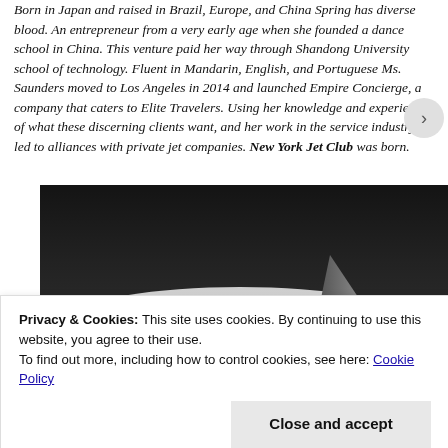Born in Japan and raised in Brazil, Europe, and China Spring has diverse blood. An entrepreneur from a very early age when she founded a dance school in China. This venture paid her way through Shandong University school of technology. Fluent in Mandarin, English, and Portuguese Ms. Saunders moved to Los Angeles in 2014 and launched Empire Concierge, a company that caters to Elite Travelers. Using her knowledge and experience of what these discerning clients want, and her work in the service industry led to alliances with private jet companies. New York Jet Club was born.
[Figure (photo): Black and white photograph of the nose of a private jet aircraft on a dark background, viewed from a slightly elevated forward angle.]
Privacy & Cookies: This site uses cookies. By continuing to use this website, you agree to their use.
To find out more, including how to control cookies, see here: Cookie Policy
Close and accept